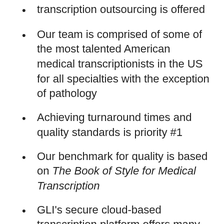transcription outsourcing is offered
Our team is comprised of some of the most talented American medical transcriptionists in the US for all specialties with the exception of pathology
Achieving turnaround times and quality standards is priority #1
Our benchmark for quality is based on The Book of Style for Medical Transcription
GLI's secure cloud-based transcription platform offers many features and interfaces quickly with leading EHRs